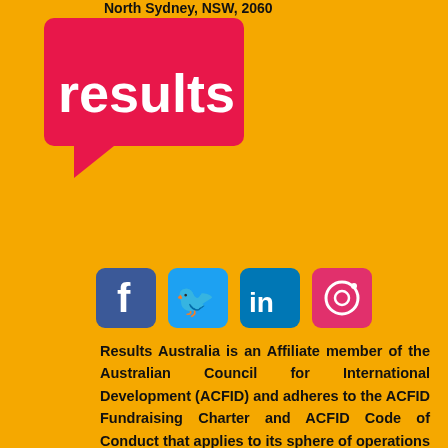North Sydney, NSW, 2060
[Figure (logo): Results Australia logo — white bold 'results' text on red speech-bubble shape]
[Figure (infographic): Social media icons: Facebook (blue), Twitter (cyan), LinkedIn (blue), Instagram (pink)]
Results Australia is an Affiliate member of the Australian Council for International Development (ACFID) and adheres to the ACFID Fundraising Charter and ACFID Code of Conduct that applies to its sphere of operations in Australia. The Code defines minimum standards of communication,